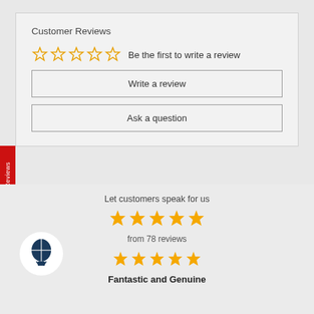Customer Reviews
☆☆☆☆☆ Be the first to write a review
Write a review
Ask a question
★ Our Reviews
Let customers speak for us
★★★★★
from 78 reviews
★★★★★
Fantastic and Genuine
[Figure (logo): Hot air balloon logo in dark navy blue on white circular background]